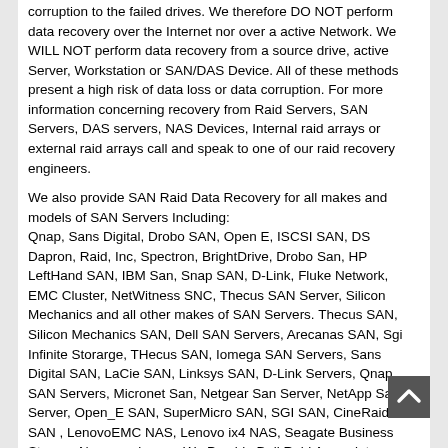corruption to the failed drives. We therefore DO NOT perform data recovery over the Internet nor over a active Network. We WILL NOT perform data recovery from a source drive, active Server, Workstation or SAN/DAS Device. All of these methods present a high risk of data loss or data corruption. For more information concerning recovery from Raid Servers, SAN Servers, DAS servers, NAS Devices, Internal raid arrays or external raid arrays call and speak to one of our raid recovery engineers.
We also provide SAN Raid Data Recovery for all makes and models of SAN Servers Including: Qnap, Sans Digital, Drobo SAN, Open E, ISCSI SAN, DS Dapron, Raid, Inc, Spectron, BrightDrive, Drobo San, HP LeftHand SAN, IBM San, Snap SAN, D-Link, Fluke Network, EMC Cluster, NetWitness SNC, Thecus SAN Server, Silicon Mechanics and all other makes of SAN Servers. Thecus SAN, Silicon Mechanics SAN, Dell SAN Servers, Arecanas SAN, Sgi Infinite Storarge, THecus SAN, Iomega SAN Servers, Sans Digital SAN, LaCie SAN, Linksys SAN, D-Link Servers, Qnap, SAN Servers, Micronet San, Netgear San Server, NetApp San Server, Open_E SAN, SuperMicro SAN, SGI SAN, CineRaid SAN , LenovoEMC NAS, Lenovo ix4 NAS, Seagate Business Storage Norco and more. We Provide Dell Raid Array data recovery for all Dell Servers including Dell EqualLogic PS Series and FS Series, PowerEdge Blade Servers, PowerEdge Tower Servers, PowerEdge Rackmount Servers, PowerVault NAS Servers, PowerVault SAN, HP StorFabric SAN HDS SAN Servers, ChenBro Server and more
Data Recovery For Flash Drives - Flash Media Data Recovery -